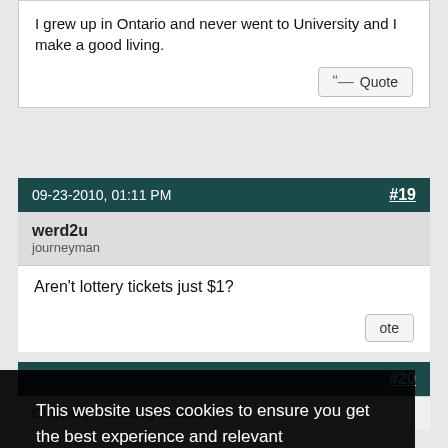I grew up in Ontario and never went to University and I make a good living.
09-23-2010, 01:11 PM
#19
werd2u
journeyman
Aren't lottery tickets just $1?
This website uses cookies to ensure you get the best experience and relevant advertisements while visiting. Learn more
Got it!
#20
Originally Posted by ahnuld